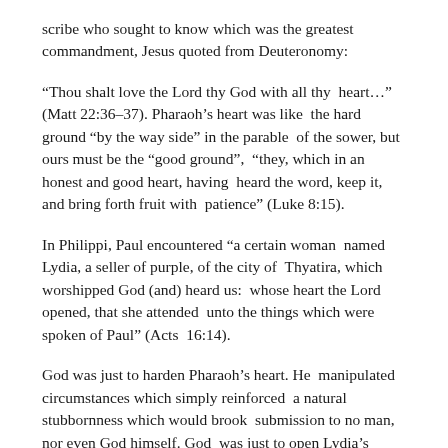scribe who sought to know which was the greatest commandment, Jesus quoted from Deuteronomy:
“Thou shalt love the Lord thy God with all thy heart…” (Matt 22:36–37). Pharaoh’s heart was like the hard ground “by the way side” in the parable of the sower, but ours must be the “good ground”, “they, which in an honest and good heart, having heard the word, keep it, and bring forth fruit with patience” (Luke 8:15).
In Philippi, Paul encountered “a certain woman named Lydia, a seller of purple, of the city of Thyatira, which worshipped God (and) heard us: whose heart the Lord opened, that she attended unto the things which were spoken of Paul” (Acts 16:14).
God was just to harden Pharaoh’s heart. He manipulated circumstances which simply reinforced a natural stubbornness which would brook submission to no man, nor even God himself. God was just to open Lydia’s heart. Here was “an honest and good heart”, ready to hear and willingly